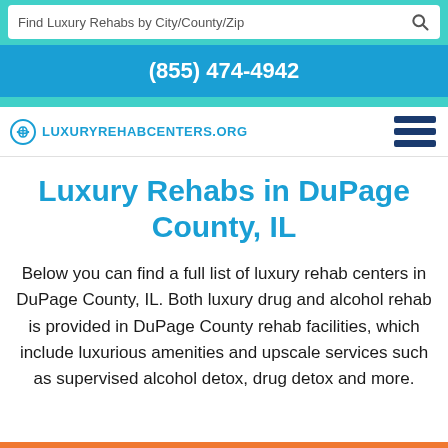Find Luxury Rehabs by City/County/Zip
(855) 474-4942
LuxuryRehabCenters.org
Luxury Rehabs in DuPage County, IL
Below you can find a full list of luxury rehab centers in DuPage County, IL. Both luxury drug and alcohol rehab is provided in DuPage County rehab facilities, which include luxurious amenities and upscale services such as supervised alcohol detox, drug detox and more.